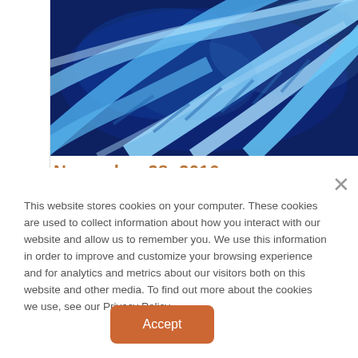[Figure (photo): Close-up illustration of blue DNA double helix strands on a dark blue background, glowing light blue strands twisting across the frame]
November 28, 2016
This website stores cookies on your computer. These cookies are used to collect information about how you interact with our website and allow us to remember you. We use this information in order to improve and customize your browsing experience and for analytics and metrics about our visitors both on this website and other media. To find out more about the cookies we use, see our Privacy Policy